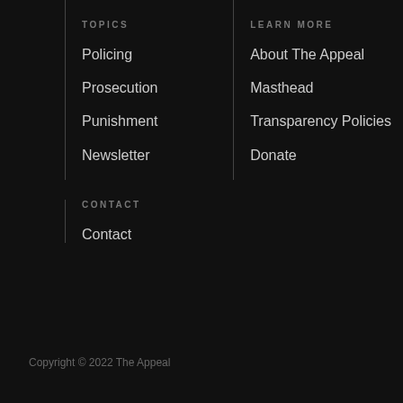TOPICS
Policing
Prosecution
Punishment
Newsletter
LEARN MORE
About The Appeal
Masthead
Transparency Policies
Donate
CONTACT
Contact
Copyright © 2022 The Appeal